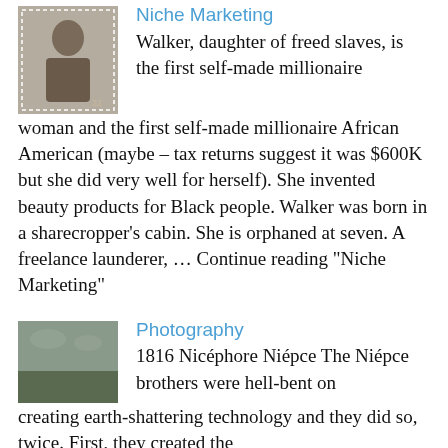Niche Marketing
Walker, daughter of freed slaves, is the first self-made millionaire woman and the first self-made millionaire African American (maybe – tax returns suggest it was $600K but she did very well for herself). She invented beauty products for Black people. Walker was born in a sharecropper's cabin. She is orphaned at seven. A freelance launderer, … Continue reading "Niche Marketing"
Photography
1816 Nicéphore Niépce The Niépce brothers were hell-bent on creating earth-shattering technology and they did so, twice. First, they created the